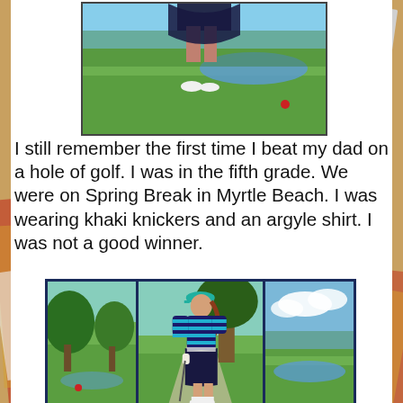[Figure (photo): Woman on golf course, lower half visible, wearing dark skirt and white shoes, green grass and pond in background]
I still remember the first time I beat my dad on a hole of golf. I was in the fifth grade. We were on Spring Break in Myrtle Beach. I was wearing khaki knickers and an argyle shirt. I was not a good winner.
[Figure (photo): Three-panel composite photo: left panel shows green trees and grass, center panel shows woman in teal cap, striped top, dark skirt and white shoes standing on golf course, right panel shows sky with clouds and pond]